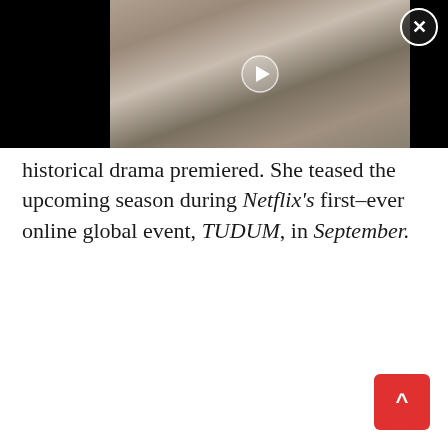[Figure (photo): Video player area showing a photo of people walking down steps outside a building; a play button is visible in the center; a close (X) button is in the top right corner.]
historical drama premiered. She teased the upcoming season during Netflix's first-ever online global event, TUDUM, in September.